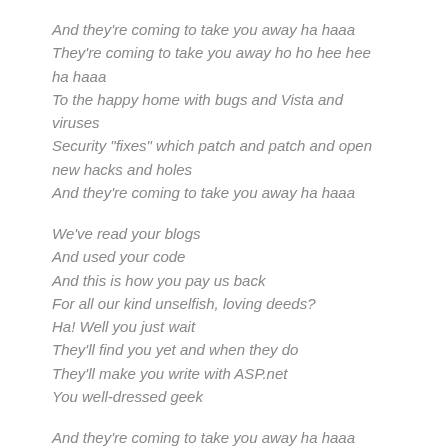And they're coming to take you away ha haaa
They're coming to take you away ho ho hee hee ha haaa
To the happy home with bugs and Vista and viruses
Security "fixes" which patch and patch and open new hacks and holes
And they're coming to take you away ha haaa
We've read your blogs
And used your code
And this is how you pay us back
For all our kind unselfish, loving deeds?
Ha! Well you just wait
They'll find you yet and when they do
They'll make you write with ASP.net
You well-dressed geek
And they're coming to take you away ha haaa
They're coming to take you away ha haaa ho ho hee hee